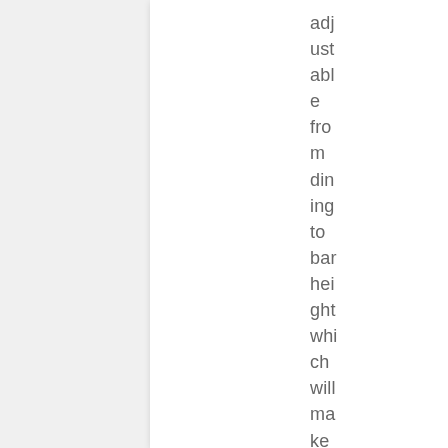adjustable from dining to bar height which will make it very